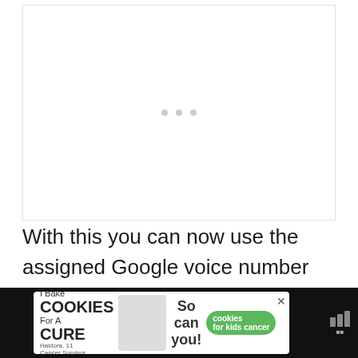[Figure (other): Blank white image placeholder area with three small grey dots centered near the top]
With this you can now use the assigned Google voice number as your whatsapp number and avoid the question of is your whatsapp number the same as your phone number.
[Figure (other): Advertisement banner: 'I Bake COOKIES For A CURE' with photo of child Haidora, Cancer Survivor, 'So can you!' text, green cookies for kids cancer logo, close button, and right-side logo with bars]
If ... phone